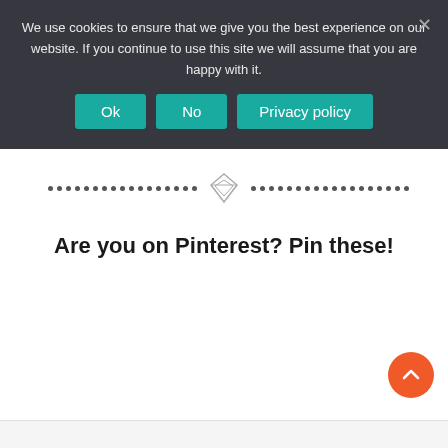We use cookies to ensure that we give you the best experience on our website. If you continue to use this site we will assume that you are happy with it.
[Figure (screenshot): Cookie consent banner with Ok, No, and Privacy policy buttons on dark background]
[Figure (logo): Small diamond/gem shaped logo icon centered between dotted lines]
Are you on Pinterest? Pin these!